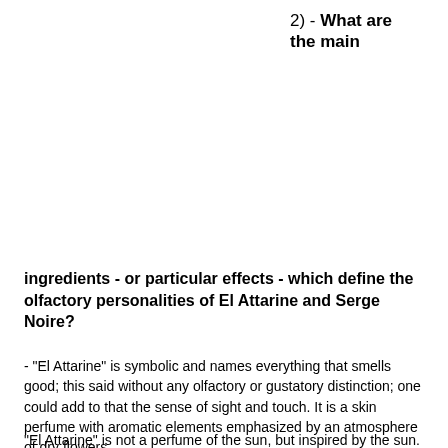2) - What are the main ingredients - or particular effects - which define the olfactory personalities of El Attarine and Serge Noire?
- "El Attarine" is symbolic and names everything that smells good; this said without any olfactory or gustatory distinction; one could add to that the sense of sight and touch. It is a skin perfume with aromatic elements emphasized by an atmosphere of dry flowers.
"El Attarine" is not a perfume of the sun, but inspired by the sun.